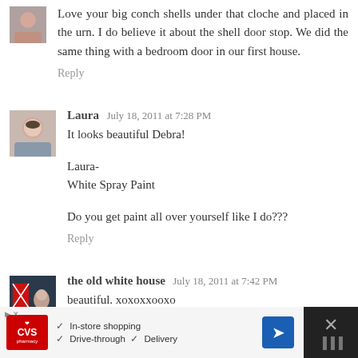Love your big conch shells under that cloche and placed in the urn. I do believe it about the shell door stop. We did the same thing with a bedroom door in our first house.
Reply
Laura  July 18, 2011 at 7:28 PM
It looks beautiful Debra!

Laura-
White Spray Paint

Do you get paint all over yourself like I do???
Reply
the old white house  July 18, 2011 at 7:42 PM
beautiful. xoxoxxooxo